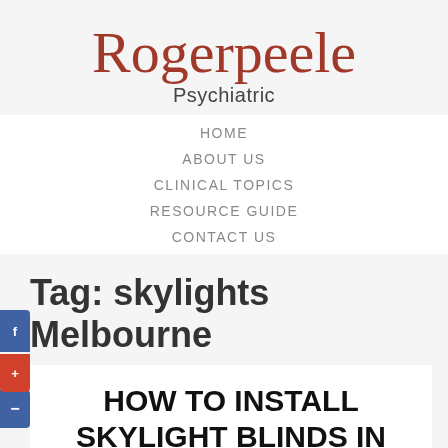Rogerpeele
Psychiatric
HOME
ABOUT US
CLINICAL TOPICS
RESOURCE GUIDE
CONTACT US
Tag: skylights Melbourne
HOW TO INSTALL SKYLIGHT BLINDS IN MELBOURNE?